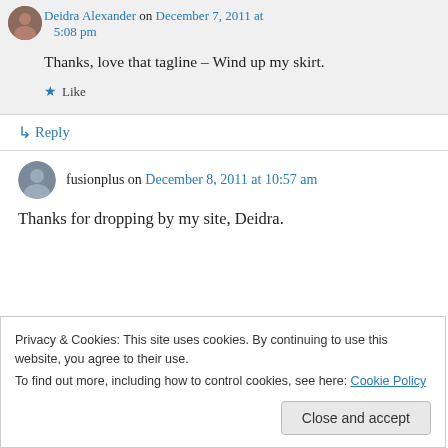Deidra Alexander on December 7, 2011 at 5:08 pm
Thanks, love that tagline – Wind up my skirt.
★ Like
↳ Reply
fusionplus on December 8, 2011 at 10:57 am
Thanks for dropping by my site, Deidra.
Privacy & Cookies: This site uses cookies. By continuing to use this website, you agree to their use.
To find out more, including how to control cookies, see here: Cookie Policy
Close and accept